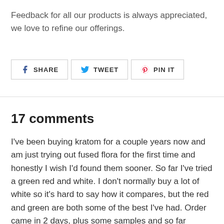Feedback for all our products is always appreciated, we love to refine our offerings.
[Figure (other): Social sharing buttons: SHARE (Facebook), TWEET (Twitter), PIN IT (Pinterest)]
17 comments
I've been buying kratom for a couple years now and am just trying out fused flora for the first time and honestly I wish I'd found them sooner. So far I've tried a green red and white. I don't normally buy a lot of white so it's hard to say how it compares, but the red and green are both some of the best I've had. Order came in 2 days, plus some samples and so far everything's been great. I'll definitely be coming back.